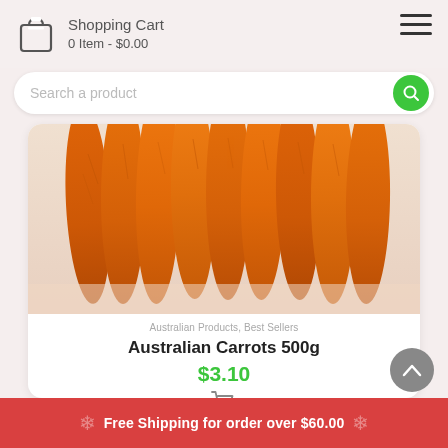Shopping Cart
0 Item - $0.00
Search a product
Australian Products, Best Sellers
Australian Carrots 500g
$3.10
[Figure (photo): Close-up photo of a bunch of fresh orange carrots arranged vertically]
Free Shipping for order over $60.00